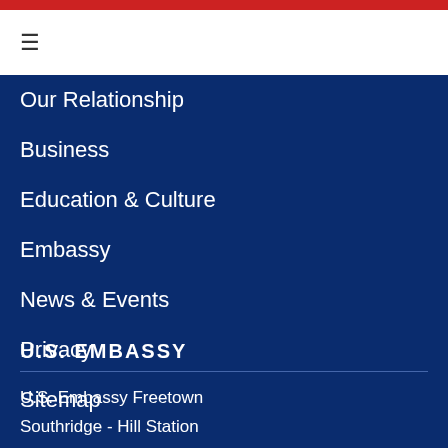≡
Our Relationship
Business
Education & Culture
Embassy
News & Events
Privacy
Sitemap
U.S. EMBASSY
U.S. Embassy Freetown
Southridge - Hill Station
Freetown, Sierra Leone